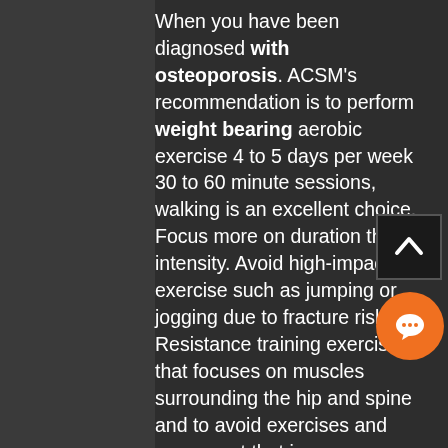When you have been diagnosed with osteoporosis. ACSM's recommendation is to perform weight bearing aerobic exercise 4 to 5 days per week 30 to 60 minute sessions, walking is an excellent choice. Focus more on duration than intensity. Avoid high-impact exercise such as jumping or jogging due to fracture risk. Resistance training exercises that focuses on muscles surrounding the hip and spine and to avoid exercises and movement that increase fracture risk. Intensity level depends on the severity of the bone density. Be careful with certain yoga and pilates poses that can contribute to spinal fractures. Exercises should be specific and be performed